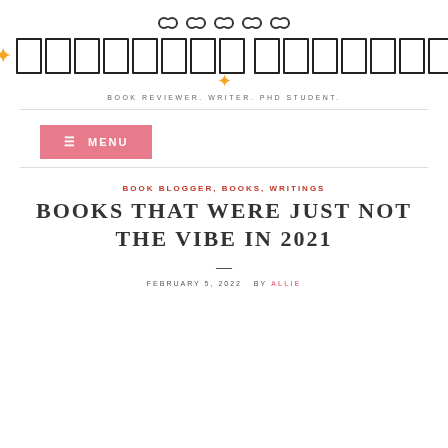[Figure (logo): Blog logo: chain link icons row, a row of book spine rectangles with golden sparkle stars, and sparkle below]
BOOK REVIEWER. WRITER. PHD STUDENT.
≡ MENU
BOOK BLOGGER, BOOKS, WRITINGS
BOOKS THAT WERE JUST NOT THE VIBE IN 2021
FEBRUARY 5, 2022  BY ALLIE